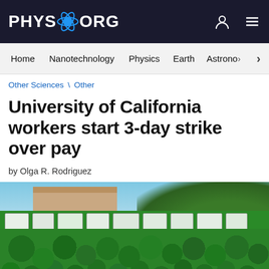PHYS.ORG
Home   Nanotechnology   Physics   Earth   Astronomy
Other Sciences \ Other
University of California workers start 3-day strike over pay
by Olga R. Rodriguez
[Figure (photo): Large crowd of University of California workers wearing green shirts and holding signs at an outdoor strike rally, with trees and a building in the background.]